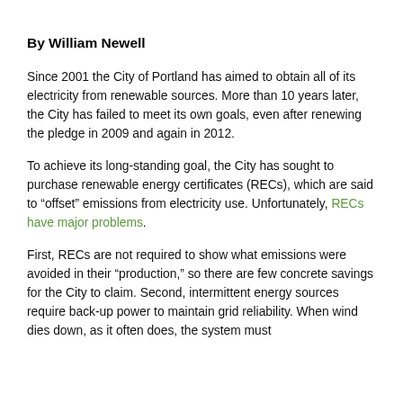By William Newell
Since 2001 the City of Portland has aimed to obtain all of its electricity from renewable sources. More than 10 years later, the City has failed to meet its own goals, even after renewing the pledge in 2009 and again in 2012.
To achieve its long-standing goal, the City has sought to purchase renewable energy certificates (RECs), which are said to “offset” emissions from electricity use. Unfortunately, RECs have major problems.
First, RECs are not required to show what emissions were avoided in their “production,” so there are few concrete savings for the City to claim. Second, intermittent energy sources require back-up power to maintain grid reliability. When wind dies down, as it often does, the system must